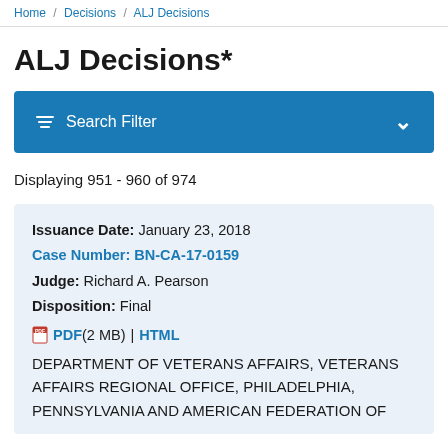Home / Decisions / ALJ Decisions
ALJ Decisions*
Search Filter
Displaying 951 - 960 of 974
Issuance Date: January 23, 2018
Case Number: BN-CA-17-0159
Judge: Richard A. Pearson
Disposition: Final
PDF (2 MB) | HTML
DEPARTMENT OF VETERANS AFFAIRS, VETERANS AFFAIRS REGIONAL OFFICE, PHILADELPHIA, PENNSYLVANIA AND AMERICAN FEDERATION OF